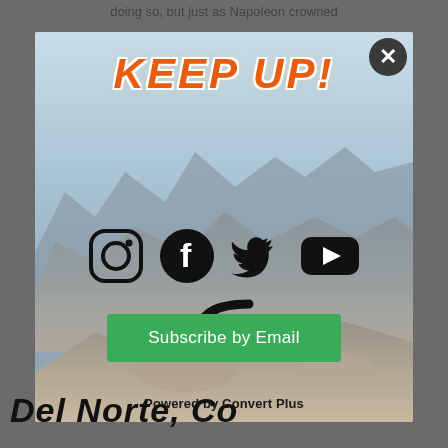doing so, but just as Napoleon crowned
[Figure (screenshot): A popup overlay on a webpage showing 'KEEP UP!' title in bold italic orange text with white outline, over a mountain landscape background photo. Below the title are social media icons: Instagram, Facebook, Twitter, YouTube, and RSS. A green 'Subscribe by Email' button is at the bottom. A dark close button (X) is in the top right corner. Below the popup is partial text 'Del Norte, Co' and 'Powered by Convert Plus'.]
Del Norte, Co
Powered by Convert Plus